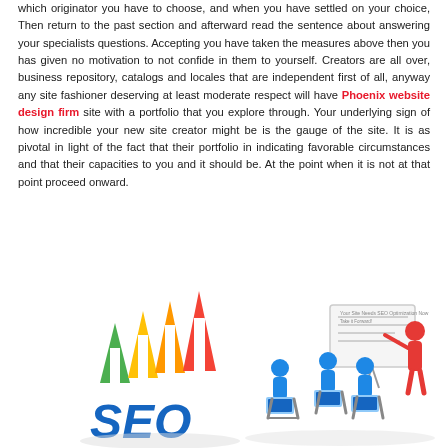which originator you have to choose, and when you have settled on your choice, Then return to the past section and afterward read the sentence about answering your specialists questions. Accepting you have taken the measures above then you has given no motivation to not confide in them to yourself. Creators are all over, business repository, catalogs and locales that are independent first of all, anyway any site fashioner deserving at least moderate respect will have Phoenix website design firm site with a portfolio that you explore through. Your underlying sign of how incredible your new site creator might be is the gauge of the site. It is as pivotal in light of the fact that their portfolio in indicating favorable circumstances and that their capacities to you and it should be. At the point when it is not at that point proceed onward.
[Figure (illustration): Left side: 3D SEO text with colorful upward arrows (green, yellow, orange, red). Right side: Blue 3D figurines in a meeting/presentation setting with a whiteboard.]